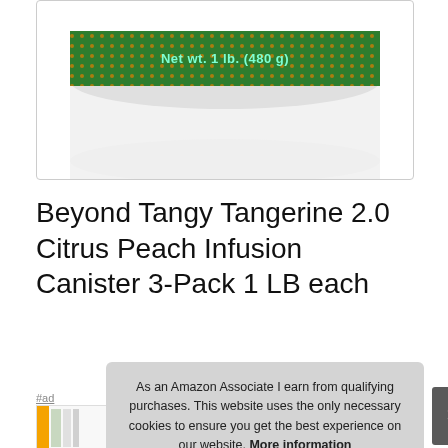[Figure (photo): Bottom portion of a white canister with green and orange patterned lid band showing text 'Net wt. 1 lb. (480 g)']
Beyond Tangy Tangerine 2.0 Citrus Peach Infusion Canister 3-Pack 1 LB each
#ad
[Figure (photo): Product thumbnail image partially visible at bottom of page]
As an Amazon Associate I earn from qualifying purchases. This website uses the only necessary cookies to ensure you get the best experience on our website. More information